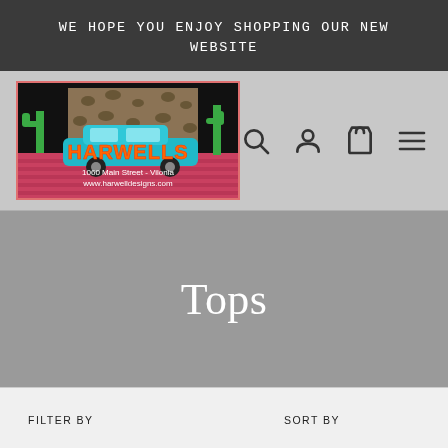WE HOPE YOU ENJOY SHOPPING OUR NEW WEBSITE
[Figure (logo): Harwells logo with cactus, leopard print background, turquoise car, text: 1060 Main Street - Vilonia, www.harwelldesigns.com]
Tops
FILTER BY
SORT BY